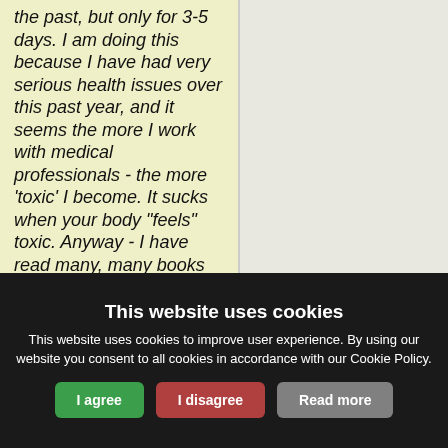the past, but only for 3-5 days. I am doing this because I have had very serious health issues over this past year, and it seems the more I work with medical professionals - the more 'toxic' I become. It sucks when your body "feels" toxic. Anyway - I have read many, many books and articles and stories about the power of water fasting, and how it is helpful to detox. That is my primary goal
This website uses cookies
This website uses cookies to improve user experience. By using our website you consent to all cookies in accordance with our Cookie Policy.
I agree | I disagree | Read more